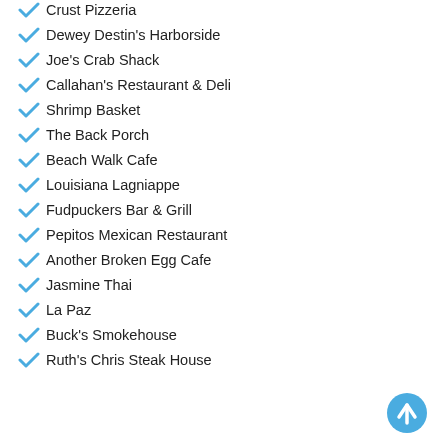Crust Pizzeria
Dewey Destin's Harborside
Joe's Crab Shack
Callahan's Restaurant & Deli
Shrimp Basket
The Back Porch
Beach Walk Cafe
Louisiana Lagniappe
Fudpuckers Bar & Grill
Pepitos Mexican Restaurant
Another Broken Egg Cafe
Jasmine Thai
La Paz
Buck's Smokehouse
Ruth's Chris Steak House